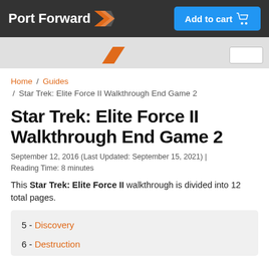Port Forward | Add to cart
Home / Guides / Star Trek: Elite Force II Walkthrough End Game 2
Star Trek: Elite Force II Walkthrough End Game 2
September 12, 2016 (Last Updated: September 15, 2021) | Reading Time: 8 minutes
This Star Trek: Elite Force II walkthrough is divided into 12 total pages.
5 - Discovery
6 - Destruction